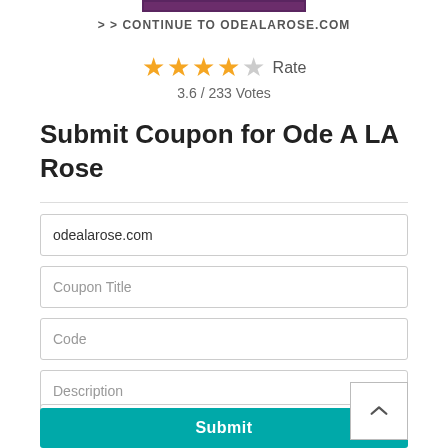[Figure (other): Purple/maroon colored top bar graphic element]
> > CONTINUE TO ODEALAROSE.COM
★★★★☆ Rate
3.6 / 233 Votes
Submit Coupon for Ode A LA Rose
odealarose.com
Coupon Title
Code
Description
Expiration
Submit